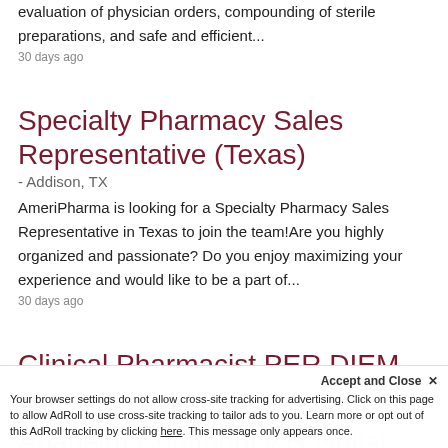evaluation of physician orders, compounding of sterile preparations, and safe and efficient...
30 days ago
Specialty Pharmacy Sales Representative (Texas)
- Addison, TX
AmeriPharma is looking for a Specialty Pharmacy Sales Representative in Texas to join the team!Are you highly organized and passionate? Do you enjoy maximizing your experience and would like to be a part of...
30 days ago
Clinical Pharmacist PER DIEM at Anaheim Community Hospital
Anaheim Community Hospital is an outstanding...
Accept and Close ×
Your browser settings do not allow cross-site tracking for advertising. Click on this page to allow AdRoll to use cross-site tracking to tailor ads to you. Learn more or opt out of this AdRoll tracking by clicking here. This message only appears once.